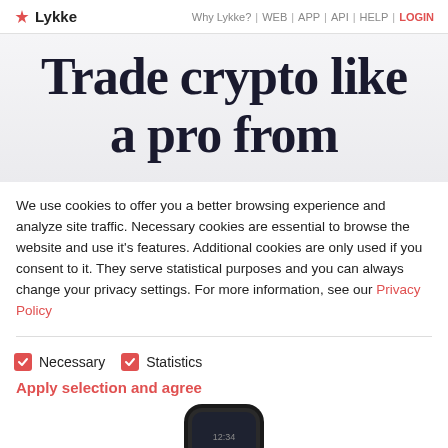✦ Lykke  Why Lykke? | WEB | APP | API | HELP | LOGIN
Trade crypto like a pro from
We use cookies to offer you a better browsing experience and analyze site traffic. Necessary cookies are essential to browse the website and use it's features. Additional cookies are only used if you consent to it. They serve statistical purposes and you can always change your privacy settings. For more information, see our Privacy Policy
Necessary
Statistics
Apply selection and agree
[Figure (photo): Bottom portion of a mobile phone/smartwatch device]